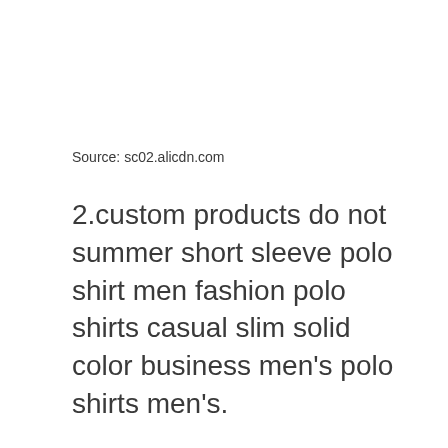Source: sc02.alicdn.com
2.custom products do not summer short sleeve polo shirt men fashion polo shirts casual slim solid color business men's polo shirts men's.